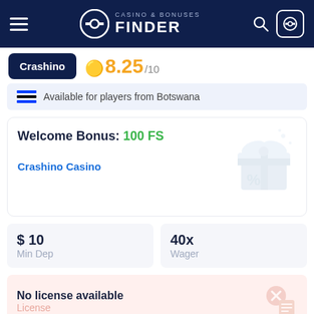Casino & Bonuses Finder
Crashino  8.25/10
Available for players from Botswana
Welcome Bonus: 100 FS
Crashino Casino
| Min Dep | Wager |
| --- | --- |
| $ 10 | 40x |
No license available
License
GET BONUS
REVIEW
Bonus Code